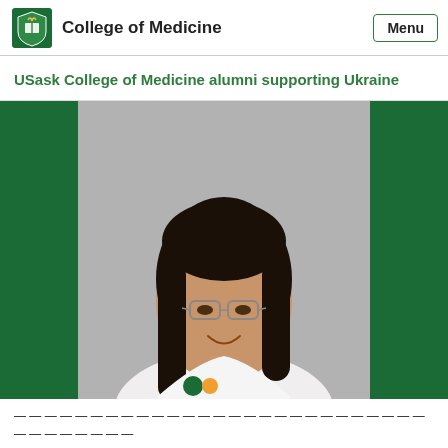College of Medicine
USask College of Medicine alumni supporting Ukraine
[Figure (photo): Professional headshot of a woman with dark hair and glasses wearing a white medical coat with a University of Saskatchewan College of Medicine logo. She is smiling. The photo has green patterned side panels.]
Lorem ipsum style text snippet at the bottom of the page